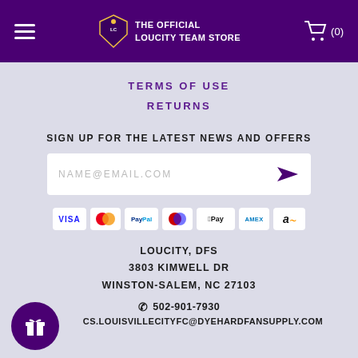THE OFFICIAL LOUCITY TEAM STORE
TERMS OF USE
RETURNS
SIGN UP FOR THE LATEST NEWS AND OFFERS
NAME@EMAIL.COM
[Figure (other): Payment method icons: Visa, Mastercard, PayPal, Maestro, Apple Pay, Amex, Amazon]
LOUCITY, DFS
3803 KIMWELL DR
WINSTON-SALEM, NC 27103
502-901-7930
CS.LOUISVILLECITYFC@DYEHARDFANSUPPLY.COM